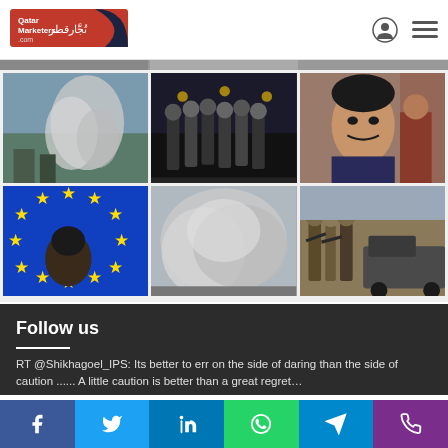[Figure (logo): Qatar Marketers / تجار قطر logo with red background and dark swoosh]
[Figure (photo): 3x2 grid of news photos: explosion smoke, group of officials, man portrait, EU flag with politician, smoke cloud, armed militants]
Follow us
RT @Shikhagoel_IPS: Its better to err on the side of daring than the side of caution ...... A little caution is better than a great regret…
2022/0
[Figure (infographic): Social media share buttons: Facebook, Twitter, LinkedIn, WhatsApp, Telegram, Phone]